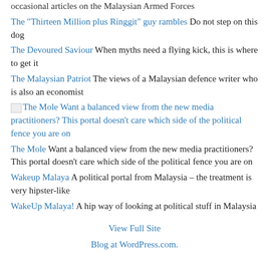occasional articles on the Malaysian Armed Forces
The "Thirteen Million plus Ringgit" guy rambles Do not step on this dog
The Devoured Saviour When myths need a flying kick, this is where to get it
The Malaysian Patriot The views of a Malaysian defence writer who is also an economist
The Mole Want a balanced view from the new media practitioners? This portal doesn't care which side of the political fence you are on
The Mole Want a balanced view from the new media practitioners? This portal doesn't care which side of the political fence you are on
Wakeup Malaya A political portal from Malaysia – the treatment is very hipster-like
WakeUp Malaya! A hip way of looking at political stuff in Malaysia
View Full Site
Blog at WordPress.com.